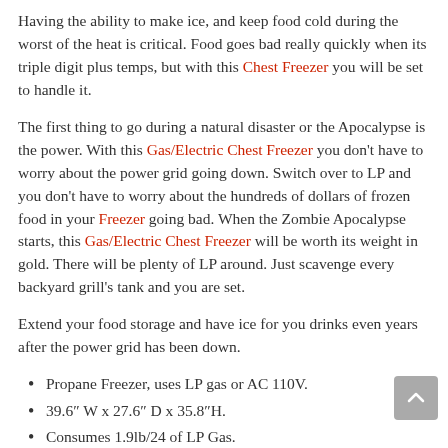Having the ability to make ice, and keep food cold during the worst of the heat is critical. Food goes bad really quickly when its triple digit plus temps, but with this Chest Freezer you will be set to handle it.
The first thing to go during a natural disaster or the Apocalypse is the power. With this Gas/Electric Chest Freezer you don't have to worry about the power grid going down. Switch over to LP and you don't have to worry about the hundreds of dollars of frozen food in your Freezer going bad. When the Zombie Apocalypse starts, this Gas/Electric Chest Freezer will be worth its weight in gold. There will be plenty of LP around. Just scavenge every backyard grill's tank and you are set.
Extend your food storage and have ice for you drinks even years after the power grid has been down.
Propane Freezer, uses LP gas or AC 110V.
39.6″ W x 27.6″ D x 35.8″H.
Consumes 1.9lb/24 of LP Gas.